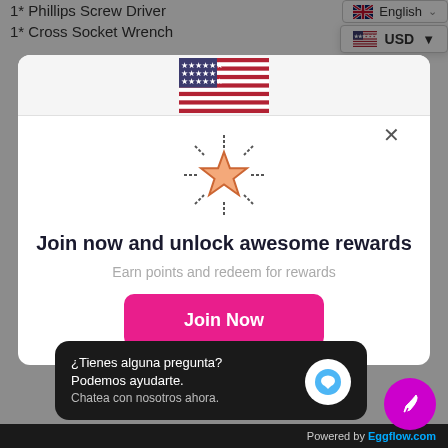1* Phillips Screw Driver
1* Cross Socket Wrench
[Figure (screenshot): Language picker showing English with UK flag and USD currency selector with US flag]
[Figure (illustration): Shining star icon with rays, pink/salmon colored star outline]
Join now and unlock awesome rewards
Earn points and redeem for rewards
Join Now
¿Tienes alguna pregunta? Podemos ayudarte. Chatea con nosotros ahora.
Powered by Eggflow.com